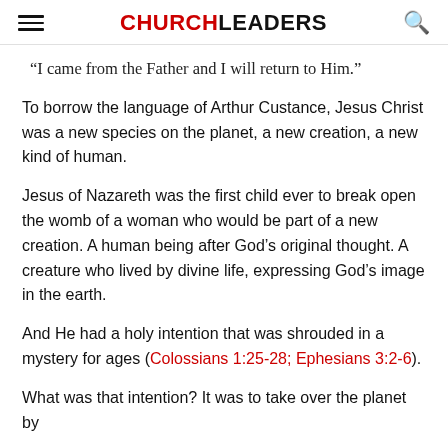CHURCHLEADERS
“I came from the Father and I will return to Him.”
To borrow the language of Arthur Custance, Jesus Christ was a new species on the planet, a new creation, a new kind of human.
Jesus of Nazareth was the first child ever to break open the womb of a woman who would be part of a new creation. A human being after God’s original thought. A creature who lived by divine life, expressing God’s image in the earth.
And He had a holy intention that was shrouded in a mystery for ages (Colossians 1:25-28; Ephesians 3:2-6).
What was that intention? It was to take over the planet by